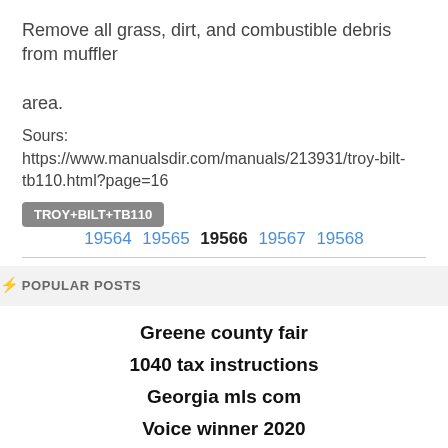Remove all grass, dirt, and combustible debris from muffler area.
Sours: https://www.manualsdir.com/manuals/213931/troy-bilt-tb110.html?page=16
TROY+BILT+TB110  19564 19565 19566 19567 19568
⚡ POPULAR POSTS
Greene county fair
1040 tax instructions
Georgia mls com
Voice winner 2020